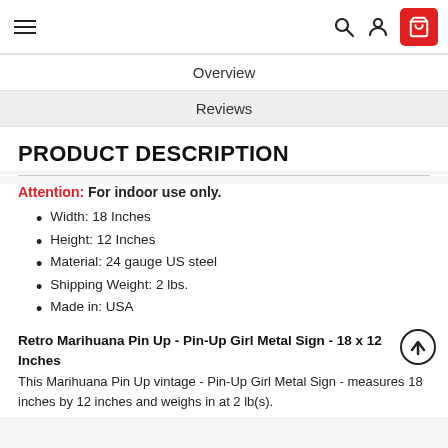Navigation bar with menu, search, user, and cart icons
Overview
Reviews
PRODUCT DESCRIPTION
Attention: For indoor use only.
Width: 18 Inches
Height: 12 Inches
Material: 24 gauge US steel
Shipping Weight: 2 lbs.
Made in: USA
Retro Marihuana Pin Up - Pin-Up Girl Metal Sign - 18 x 12 Inches
This Marihuana Pin Up vintage - Pin-Up Girl Metal Sign - measures 18 inches by 12 inches and weighs in at 2 lb(s).